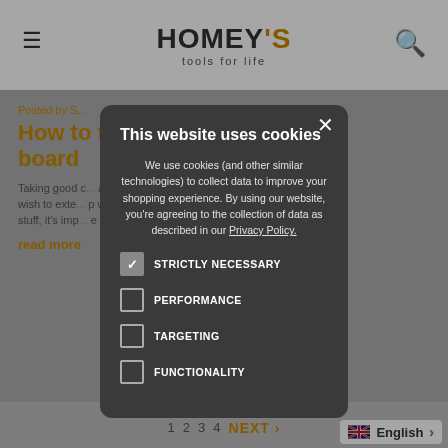[Figure (screenshot): Website background showing Homey's Tools for Life navigation bar with hamburger menu icon, logo, and search icon]
Posted by S...
How to ... g board
Taking good ... ant if you wish to exte... p wooden stuff, it's imp... e spec ...
read more
This website uses cookies
We use cookies (and other similar technologies) to collect data to improve your shopping experience. By using our website, you're agreeing to the collection of data as described in our Privacy Policy.
STRICTLY NECESSARY (checked)
PERFORMANCE
TARGETING
FUNCTIONALITY
English